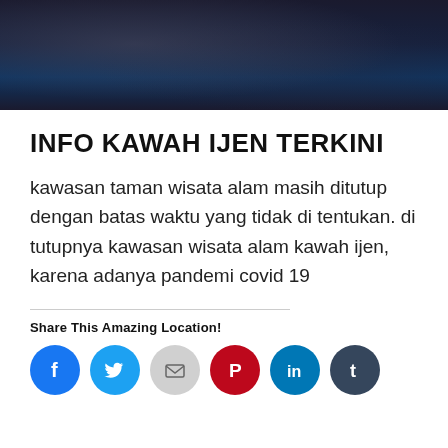[Figure (photo): Dark atmospheric photograph, appears to show a cave or volcanic landscape with dark blue and black tones]
INFO KAWAH IJEN TERKINI
kawasan taman wisata alam masih ditutup dengan batas waktu yang tidak di tentukan. di tutupnya kawasan wisata alam kawah ijen, karena adanya pandemi covid 19
Share This Amazing Location!
[Figure (infographic): Social media share buttons: Facebook (blue circle), Twitter (blue circle), Email (grey circle), Pinterest (red circle), LinkedIn (teal circle), Tumblr (dark teal circle)]